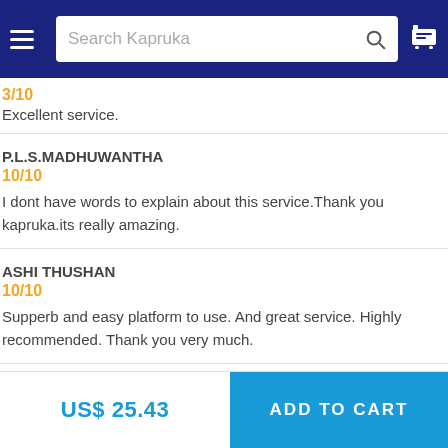Search Kapruka
3/10
Excellent service.
P.L.S.MADHUWANTHA
10/10
I dont have words to explain about this service.Thank you kapruka.its really amazing.
ASHI THUSHAN
10/10
Supperb and easy platform to use. And great service. Highly recommended. Thank you very much.
US$ 25.43
ADD TO CART